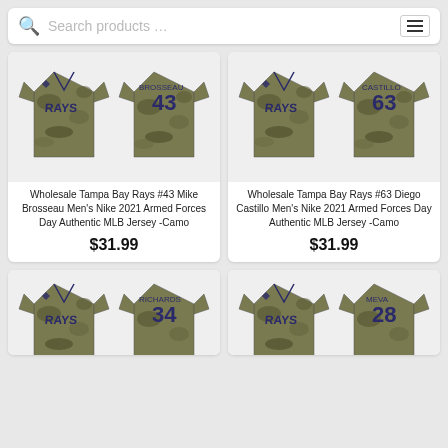Search products …
[Figure (photo): Tampa Bay Rays camo jersey front and back views, #43 Mike Brosseau]
Wholesale Tampa Bay Rays #43 Mike Brosseau Men's Nike 2021 Armed Forces Day Authentic MLB Jersey -Camo
$31.99
[Figure (photo): Tampa Bay Rays camo jersey front and back views, #63 Diego Castillo]
Wholesale Tampa Bay Rays #63 Diego Castillo Men's Nike 2021 Armed Forces Day Authentic MLB Jersey -Camo
$31.99
[Figure (photo): Tampa Bay Rays camo jersey front and back views, #34 Richards]
[Figure (photo): Tampa Bay Rays camo jersey front and back views, #28 Meva]